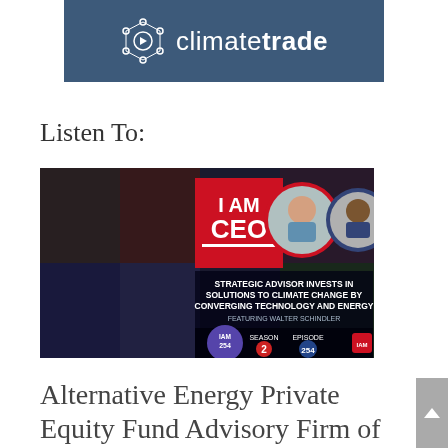[Figure (logo): ClimateTrade logo on a dark blue/slate background. Features a circular network icon on the left and the text 'climatetrade' (bold 'trade') in white.]
Listen To:
[Figure (screenshot): I AM CEO podcast thumbnail. Shows 'I AM CEO' text in bold white letters on red background, two circular portrait photos, and text reading 'STRATEGIC ADVISOR INVESTS IN SOLUTIONS TO CLIMATE CHANGE BY CONVERGING TECHNOLOGY AND ENERGY FEATURING WALTER SCHINDLER IAM254 SEASON 2 EPISODE 254']
Alternative Energy Private Equity Fund Advisory Firm of the Year